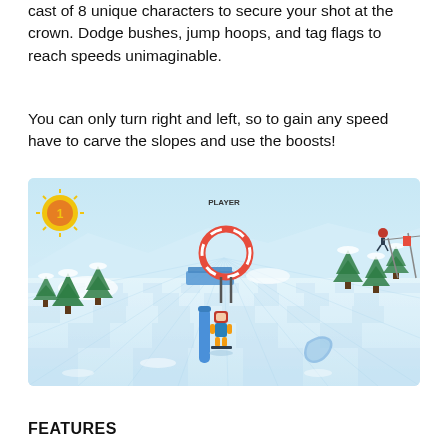cast of 8 unique characters to secure your shot at the crown. Dodge bushes, jump hoops, and tag flags to reach speeds unimaginable.
You can only turn right and left, so to gain any speed have to carve the slopes and use the boosts!
[Figure (screenshot): Screenshot of a skiing video game showing a checkered snow slope viewed in third-person perspective. A small character in colorful outfit is skiing downhill, with a blue post obstacle nearby, a red-and-white hoop jump ahead, snow-covered pine trees on the sides, a sun icon with a trophy in the top-left, and ski lift structures on the right. The ground has a light blue checkered pattern and swirling perspective lines.]
FEATURES